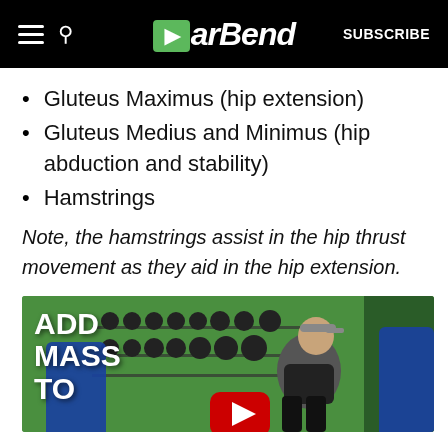BarBend — SUBSCRIBE
Gluteus Maximus (hip extension)
Gluteus Medius and Minimus (hip abduction and stability)
Hamstrings
Note, the hamstrings assist in the hip thrust movement as they aid in the hip extension.
[Figure (photo): Video thumbnail showing a person performing hip thrust with barbell weights, with text ADD MASS TO overlaid on green gym background, YouTube play button visible]